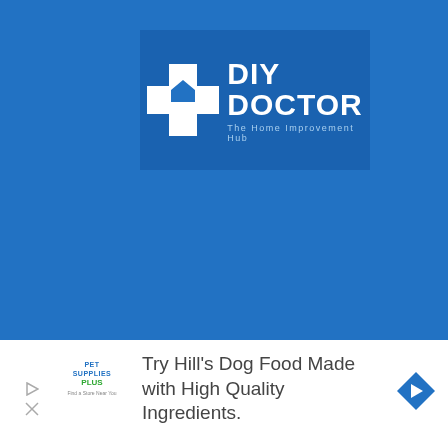[Figure (logo): DIY Doctor logo — white cross with house icon on blue background, with text 'DIY DOCTOR' and tagline 'The Home Improvement Hub']
[Figure (infographic): Advertisement banner: Pet Supplies Plus logo on left, text 'Try Hill's Dog Food Made with High Quality Ingredients.' in center, blue diamond with right-arrow on right; play and close icons on far left]